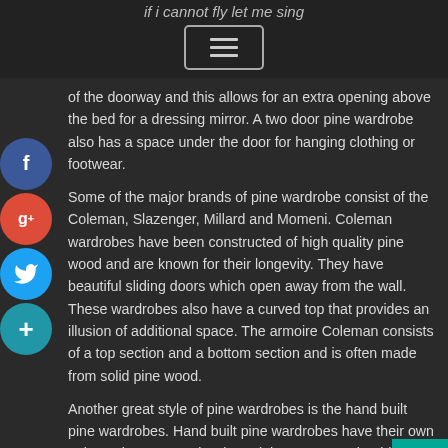if i cannot fly let me sing
[Figure (screenshot): Menu/hamburger button icon with three horizontal lines inside a rounded rectangle border]
of the doorway and this allows for an extra opening above the bed for a dressing mirror. A two door pine wardrobe also has a space under the door for hanging clothing or footwear.
Some of the major brands of pine wardrobe consist of the Coleman, Slazenger, Millard and Momeni. Coleman wardrobes have been constructed of high quality pine wood and are known for their longevity. They have beautiful sliding doors which open away from the wall. These wardrobes also have a curved top that provides an illusion of additional space. The armoire Coleman consists of a top section and a bottom section and is often made from solid pine wood.
Another great style of pine wardrobes is the hand built pine wardrobes. Hand built pine wardrobes have their own unique character and style and they are very durable. These types of